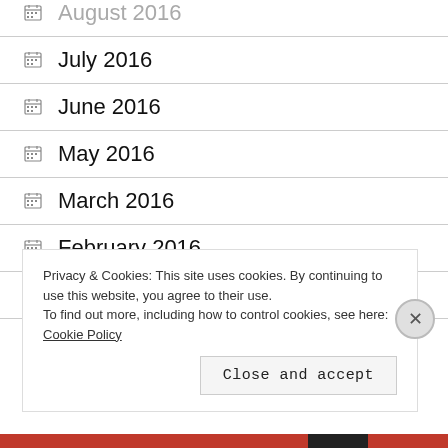August 2016
July 2016
June 2016
May 2016
March 2016
February 2016
December 2015
Privacy & Cookies: This site uses cookies. By continuing to use this website, you agree to their use. To find out more, including how to control cookies, see here: Cookie Policy
Close and accept